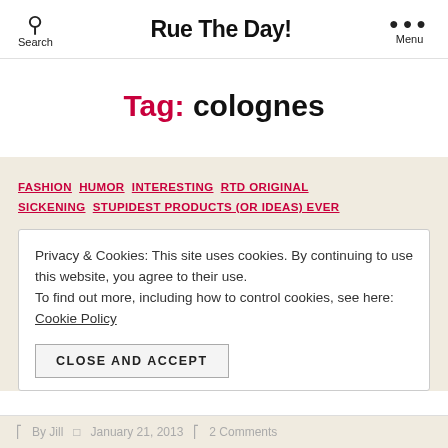Search  Rue The Day!  Menu
Tag: colognes
FASHION  HUMOR  INTERESTING  RTD ORIGINAL  SICKENING  STUPIDEST PRODUCTS (OR IDEAS) EVER
Privacy & Cookies: This site uses cookies. By continuing to use this website, you agree to their use.
To find out more, including how to control cookies, see here: Cookie Policy
CLOSE AND ACCEPT
By Jill  January 21, 2013  2 Comments